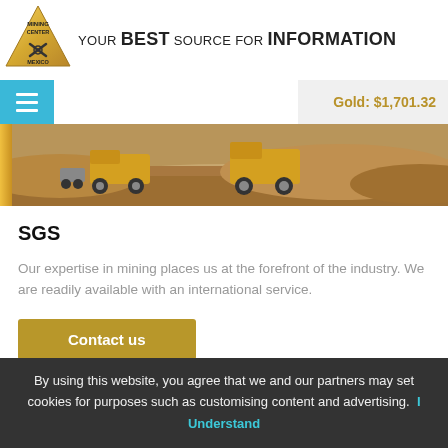[Figure (logo): Mining Center Mexico triangular gold logo with crossed pickaxe and hammer]
YOUR BEST SOURCE FOR INFORMATION
Gold: $1,701.32
[Figure (photo): Open pit mine with large yellow dump trucks on dirt terrain]
SGS
Our expertise in mining places us at the forefront of the industry. We are readily available with an international service.
Contact us
By using this website, you agree that we and our partners may set cookies for purposes such as customising content and advertising.  I Understand